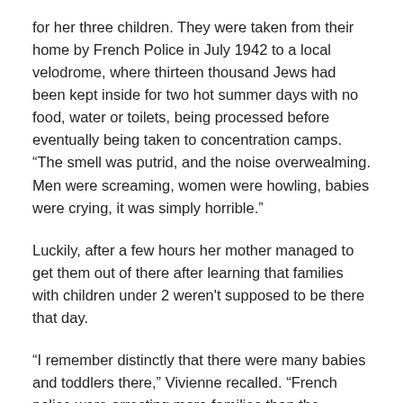for her three children. They were taken from their home by French Police in July 1942 to a local velodrome, where thirteen thousand Jews had been kept inside for two hot summer days with no food, water or toilets, being processed before eventually being taken to concentration camps. "The smell was putrid, and the noise overwealming. Men were screaming, women were howling, babies were crying, it was simply horrible."
Luckily, after a few hours her mother managed to get them out of there after learning that families with children under 2 weren't supposed to be there that day.
“I remember distinctly that there were many babies and toddlers there,” Vivienne recalled. “French police were arresting more families than the Germans actually required for that particular round up. There was not a single Nazi soldier ... Only a handful of people survived, but none of the four thousand children who were there ever came back.”
Vivienne and her younger brother and sister were soon smuggled to a family farm in the village of Chauffour Notre